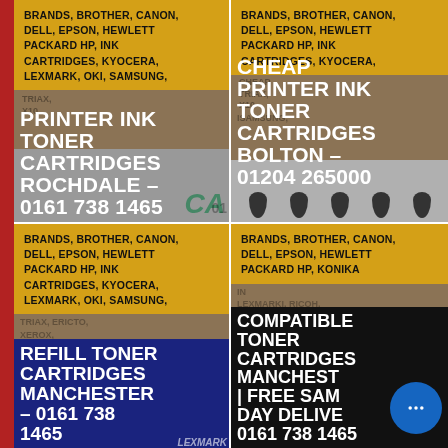[Figure (infographic): Top-left card: Yellow background with bold text listing printer brands, overlaid with large white text 'PRINTER INK TONER CARTRIDGES ROCHDALE – 0161 738 1465' on brown/gray background with ink cartridge image]
[Figure (infographic): Top-right card: Yellow background with bold text listing printer brands, overlaid with large white text 'CHEAP PRINTER INK TONER CARTRIDGES BOLTON – 01204 265000' on brown/gray background with ink drop shapes]
[Figure (infographic): Bottom-left card: Yellow background with bold text listing printer brands, overlaid with large white text 'REFILL TONER CARTRIDGES MANCHESTER – 0161 738 1465' on navy strip with Lexmark image]
[Figure (infographic): Bottom-right card: Yellow background with bold text listing printer brands, overlaid with large white text 'COMPATIBLE TONER CARTRIDGES MANCHESTER | FREE SAME DAY DELIVERY 0161 738 1465' on black strip with chat bubble icon]